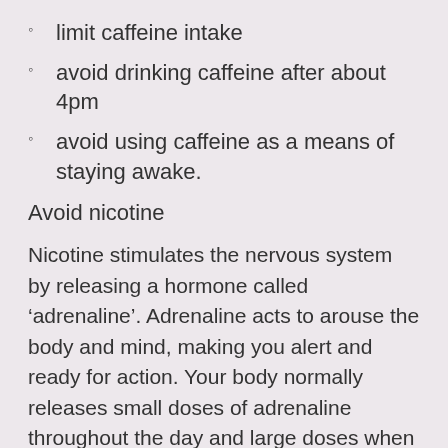limit caffeine intake
avoid drinking caffeine after about 4pm
avoid using caffeine as a means of staying awake.
Avoid nicotine
Nicotine stimulates the nervous system by releasing a hormone called ‘adrenaline’. Adrenaline acts to arouse the body and mind, making you alert and ready for action. Your body normally releases small doses of adrenaline throughout the day and large doses when you are faced with something challenging or threatening. Therefore, smoking prior to bedtime causes adrenaline to be released, thereby increasing energy and liveliness at the very time when you want to be relaxed and ready for sleep. If you are a smoker and you normally have trouble